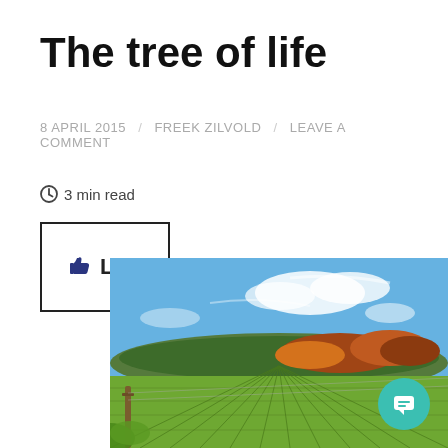The tree of life
8 APRIL 2015 / FREEK ZILVOLD / LEAVE A COMMENT
3 min read
[Figure (other): Like button widget with thumbs up icon]
[Figure (photo): Aerial view of a vineyard with green rows of vines in the foreground and a forest with autumn foliage in the background under a blue sky with clouds]